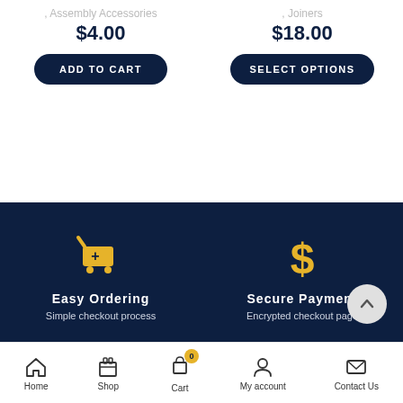, Assembly Accessories
$4.00
ADD TO CART
, Joiners
$18.00
SELECT OPTIONS
[Figure (illustration): Shopping cart icon in golden/yellow color]
Easy Ordering
Simple checkout process
[Figure (illustration): Dollar sign icon in golden/yellow color for Secure Payment]
Secure Payment
Encrypted checkout page
Home  Shop  Cart  My account  Contact Us